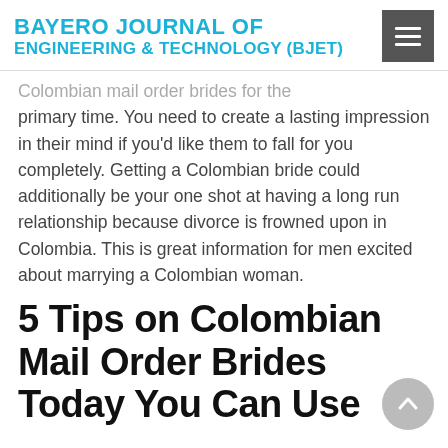BAYERO JOURNAL OF ENGINEERING & TECHNOLOGY (BJET)
Colombian mail order brides for the primary time. You need to create a lasting impression in their mind if you'd like them to fall for you completely. Getting a Colombian bride could additionally be your one shot at having a long run relationship because divorce is frowned upon in Colombia. This is great information for men excited about marrying a Colombian woman.
5 Tips on Colombian Mail Order Brides Today You Can Use